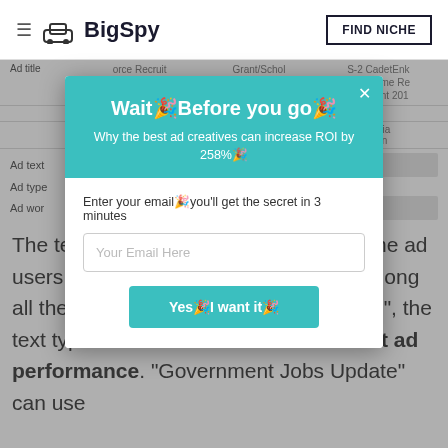BigSpy — FIND NICHE
| Ad title |  |  |  |
| --- | --- | --- | --- |
| Ad title | orce Recruit
tment 201
8... | Grant/Scholarship
2018-19 for So
ldie & Houlder... | S-2 Cadet-Entry
Scheme Re
cruitment 201... |
Ad text
Ad type
Ad word
The te... and it is the key to let the ad users convert into actual customers. Among all the ads of "Government Jobs Update", the text type used is other to obtain the best ad performance. "Government Jobs Update" can use
[Figure (screenshot): Modal popup dialog with teal header containing title 'Wait! Before you go!', subtitle 'Why the best ad creatives can increase ROI by 258%!', email input field labeled 'Enter your email you'll get the secret in 3 minutes', and a teal button 'Yes! I want it!']